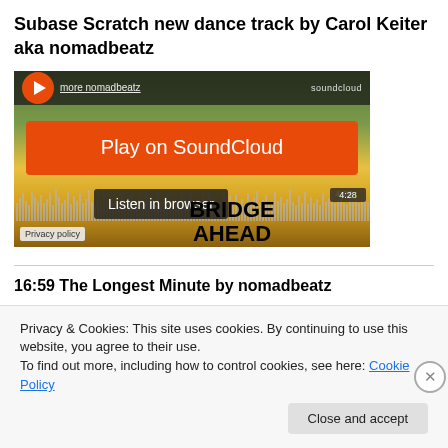Subase Scratch new dance track by Carol Keiter aka nomadbeatz
[Figure (screenshot): SoundCloud embedded player showing a track with orange 'Play on SoundCloud' button, waveform, 'Listen in browser' button, time 4:28, and background showing a bridge ahead warning sign. Privacy policy label at bottom left.]
16:59 The Longest Minute by nomadbeatz
Privacy & Cookies: This site uses cookies. By continuing to use this website, you agree to their use.
To find out more, including how to control cookies, see here: Cookie Policy
Close and accept